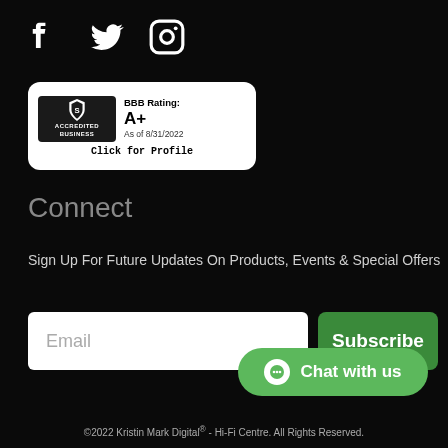[Figure (logo): Social media icons: Facebook, Twitter, Instagram]
[Figure (logo): BBB Accredited Business badge - BBB Rating: A+ As of 8/31/2022 Click for Profile]
Connect
Sign Up For Future Updates On Products, Events & Special Offers
Email input field and Subscribe button
Chat with us button
©2022 Kristin Mark Digital® - Hi-Fi Centre. All Rights Reserved.